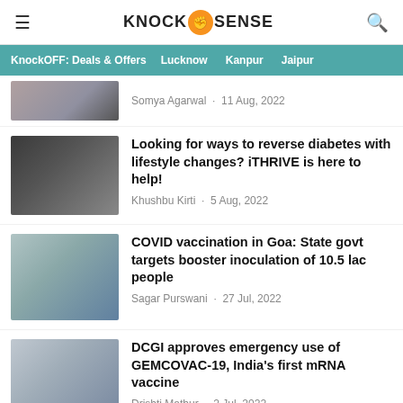KnockSense - Navigation header with hamburger menu and search icon
KnockOFF: Deals & Offers | Lucknow | Kanpur | Jaipur
Somya Agarwal · 11 Aug, 2022
Looking for ways to reverse diabetes with lifestyle changes? iTHRIVE is here to help!
Khushbu Kirti · 5 Aug, 2022
COVID vaccination in Goa: State govt targets booster inoculation of 10.5 lac people
Sagar Purswani · 27 Jul, 2022
DCGI approves emergency use of GEMCOVAC-19, India's first mRNA vaccine
Drishti Mathur · 2 Jul, 2022